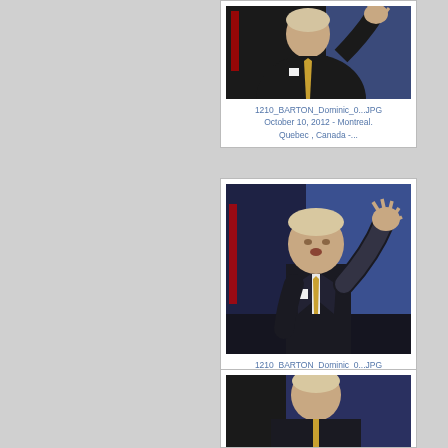[Figure (photo): Photo of man in dark suit with hand raised at conference, partial top crop. Caption: 1210_BARTON_Dominic_0...JPG October 10, 2012 - Montreal. Quebec , Canada -...]
1210_BARTON_Dominic_0...JPG October 10, 2012 - Montreal. Quebec , Canada -...
[Figure (photo): Full photo of man in dark suit with hand raised at conference with blue background. Caption: 1210_BARTON_Dominic_0...JPG October 10, 2012 - Montreal. Quebec , Canada -...]
1210_BARTON_Dominic_0...JPG October 10, 2012 - Montreal. Quebec , Canada -...
[Figure (photo): Partial photo of same man at conference, bottom of page, cropped.]